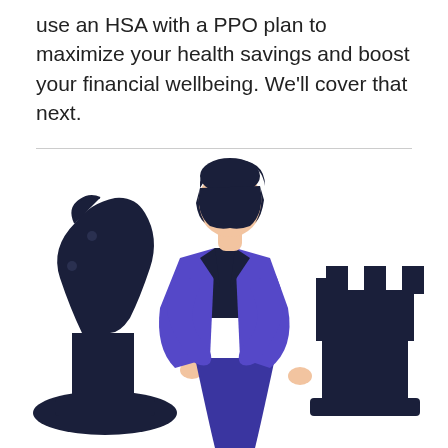use an HSA with a PPO plan to maximize your health savings and boost your financial wellbeing. We’ll cover that next.
[Figure (illustration): Flat illustration of a businesswoman in a blue blazer and skirt standing confidently between two large dark navy chess pieces: a knight on her left and a rook on her right, suggesting strategic financial planning.]